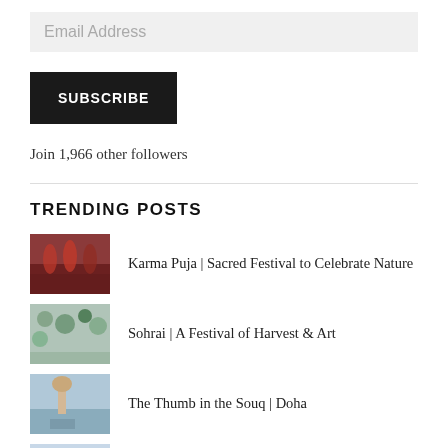Email Address
SUBSCRIBE
Join 1,966 other followers
TRENDING POSTS
Karma Puja | Sacred Festival to Celebrate Nature
Sohrai | A Festival of Harvest & Art
The Thumb in the Souq | Doha
North Sikkim Trip | Day 2: Lachen-